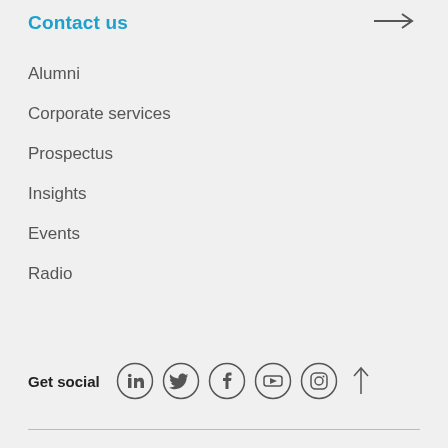Contact us
Alumni
Corporate services
Prospectus
Insights
Events
Radio
Get social
[Figure (illustration): Social media icons in circles: LinkedIn, Twitter, Facebook, YouTube, Instagram. Arrow pointing right next to title. Arrow pointing up next to social icons.]